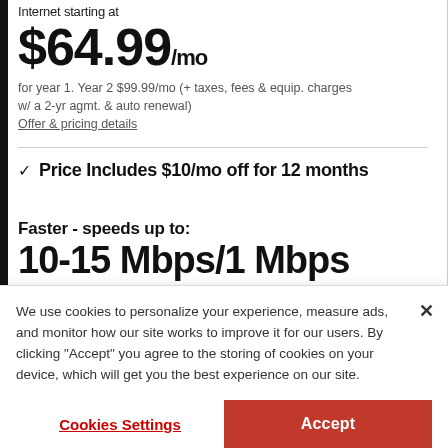Internet starting at
$64.99/mo
for year 1. Year 2 $99.99/mo (+ taxes, fees & equip. charges w/ a 2-yr agmt. & auto renewal)
Offer & pricing details
✓ Price Includes $10/mo off for 12 months
Faster - speeds up to:
10-15 Mbps/1 Mbps
We use cookies to personalize your experience, measure ads, and monitor how our site works to improve it for our users. By clicking "Accept" you agree to the storing of cookies on your device, which will get you the best experience on our site.
Cookies Settings
Accept